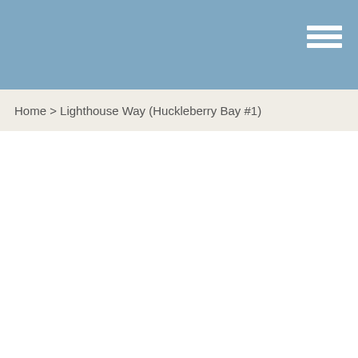Home > Lighthouse Way (Huckleberry Bay #1)